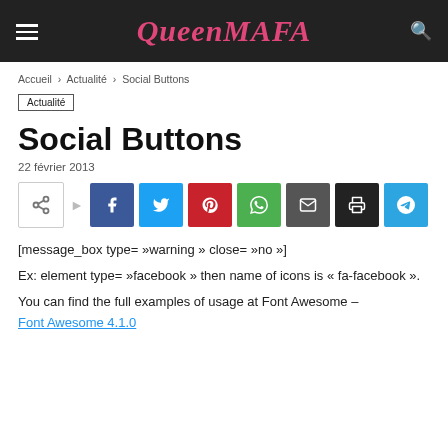QueenMAFA
Accueil > Actualité > Social Buttons
Actualité
Social Buttons
22 février 2013
[Figure (infographic): Social sharing buttons: share, facebook, twitter, pinterest, whatsapp, email, print, telegram]
[message_box type= »warning » close= »no »]
Ex: element type= »facebook » then name of icons is « fa-facebook ».
You can find the full examples of usage at Font Awesome – Font Awesome 4.1.0